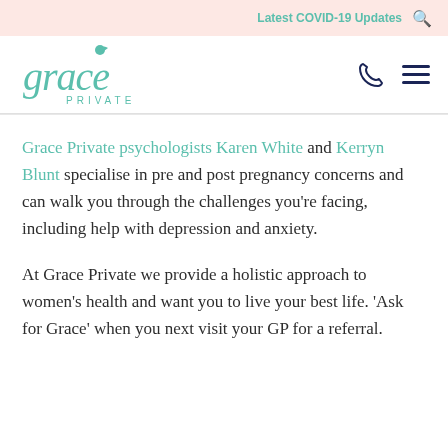Latest COVID-19 Updates
[Figure (logo): Grace Private logo in teal, cursive 'grace' with 'PRIVATE' beneath]
Grace Private psychologists Karen White and Kerryn Blunt specialise in pre and post pregnancy concerns and can walk you through the challenges you're facing, including help with depression and anxiety.
At Grace Private we provide a holistic approach to women's health and want you to live your best life. 'Ask for Grace' when you next visit your GP for a referral.